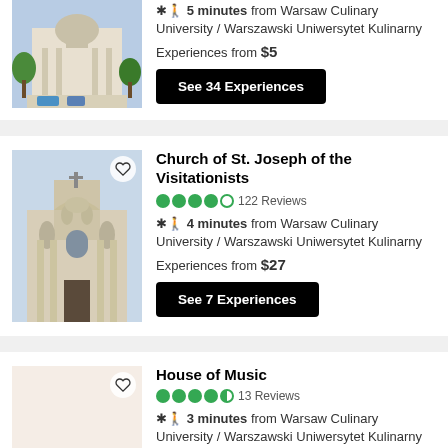[Figure (photo): Partial card at top showing a neoclassical building with green trees]
* 5 minutes from Warsaw Culinary University / Warszawski Uniwersytet Kulinarny
Experiences from $5
See 34 Experiences
Church of St. Joseph of the Visitationists
122 Reviews
* 4 minutes from Warsaw Culinary University / Warszawski Uniwersytet Kulinarny
Experiences from $27
See 7 Experiences
House of Music
13 Reviews
* 3 minutes from Warsaw Culinary University / Warszawski Uniwersytet Kulinarny